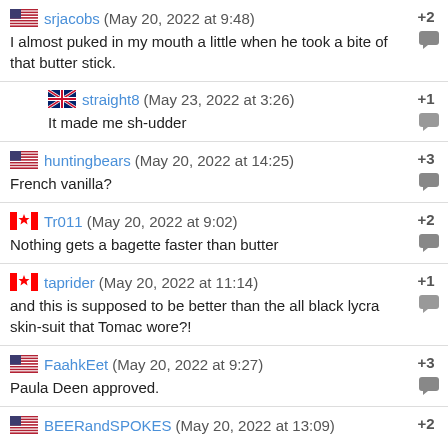srjacobs (May 20, 2022 at 9:48) +2
I almost puked in my mouth a little when he took a bite of that butter stick.
straight8 (May 23, 2022 at 3:26) +1
It made me sh-udder
huntingbears (May 20, 2022 at 14:25) +3
French vanilla?
Tr011 (May 20, 2022 at 9:02) +2
Nothing gets a bagette faster than butter
taprider (May 20, 2022 at 11:14) +1
and this is supposed to be better than the all black lycra skin-suit that Tomac wore?!
FaahkEet (May 20, 2022 at 9:27) +3
Paula Deen approved.
BEERandSPOKES (May 20, 2022 at 13:09) +2